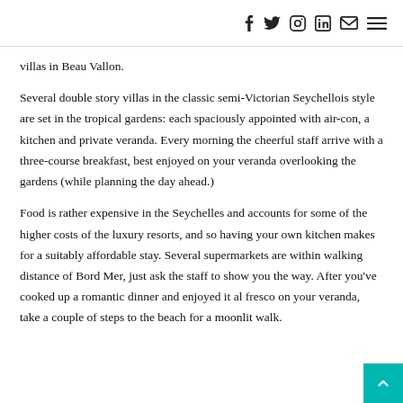f  Twitter  Instagram  in  mail  menu
villas in Beau Vallon.
Several double story villas in the classic semi-Victorian Seychellois style are set in the tropical gardens: each spaciously appointed with air-con, a kitchen and private veranda. Every morning the cheerful staff arrive with a three-course breakfast, best enjoyed on your veranda overlooking the gardens (while planning the day ahead.)
Food is rather expensive in the Seychelles and accounts for some of the higher costs of the luxury resorts, and so having your own kitchen makes for a suitably affordable stay. Several supermarkets are within walking distance of Bord Mer, just ask the staff to show you the way. After you've cooked up a romantic dinner and enjoyed it al fresco on your veranda, take a couple of steps to the beach for a moonlit walk.